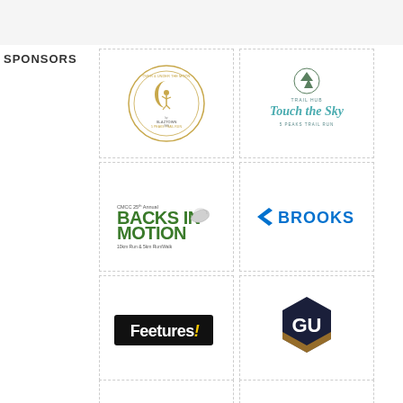SPONSORS
[Figure (logo): Over the Moon 5 Peaks Trail Run logo - circular gold design with running figure]
[Figure (logo): Trail Hub Touch the Sky 5 Peaks Trail Run logo - teal text with mountain/tree icon]
[Figure (logo): CMCC 25th Annual Backs in Motion 10km Run & 5km Run/Walk logo - green text with running shoe]
[Figure (logo): Brooks running brand logo - blue text with arrow]
[Figure (logo): Feetures! logo - black and yellow text]
[Figure (logo): GU Energy Labs logo - dark navy hexagon with GU letters]